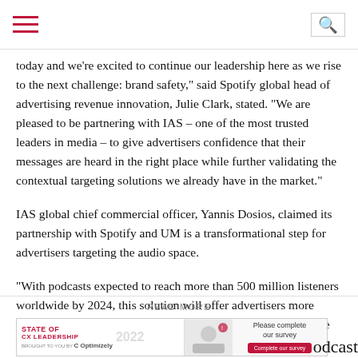[Hamburger menu] [Search icon]
today and we’re excited to continue our leadership here as we rise to the next challenge: brand safety,” said Spotify global head of advertising revenue innovation, Julie Clark, stated. “We are pleased to be partnering with IAS – one of the most trusted leaders in media – to give advertisers confidence that their messages are heard in the right place while further validating the contextual targeting solutions we already have in the market.”
IAS global chief commercial officer, Yannis Dosios, claimed its partnership with Spotify and UM is a transformational step for advertisers targeting the audio space.
“With podcasts expected to reach more than 500 million listeners worldwide by 2024, this solution will offer advertisers more control and confidence that their messages will deeply resonate with their intended audiences,” he said.
READ MORE
[Figure (other): Advertisement banner for State of CX Leadership 2022, brought to you by Optimizely, with a survey completion prompt on the right side.]